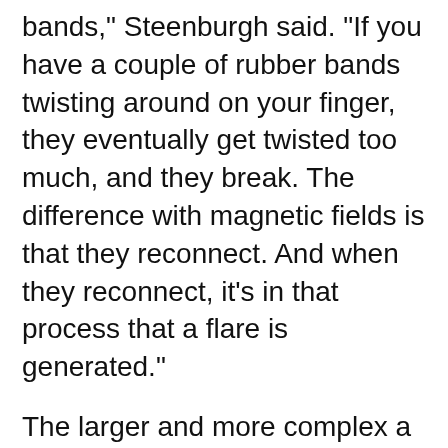bands," Steenburgh said. "If you have a couple of rubber bands twisting around on your finger, they eventually get twisted too much, and they break. The difference with magnetic fields is that they reconnect. And when they reconnect, it's in that process that a flare is generated."
The larger and more complex a sunspot becomes, the higher the likelihood is for solar flares, Steenburgh said.
Gallery: Photos: Astra launches NASA TROPICS mission from Cape Canaveral Space Force Station (USA TODAY)
1 of 8 Photos in Gallery©Craig Bailey/FLORIDA TODAY
The sunspot has doubled in size each day for the past three days and is about 2.5 times the size of Earth, C. Alex Young, associate director for